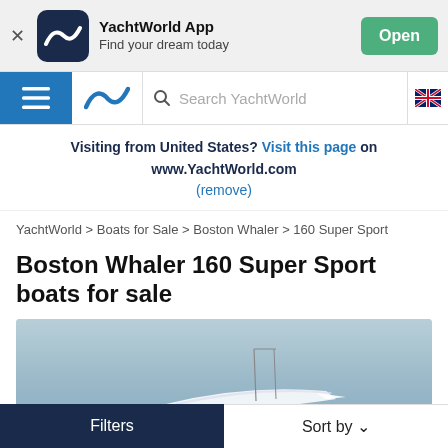[Figure (screenshot): App banner with YachtWorld App logo, name, tagline, and Open button]
[Figure (screenshot): Navigation bar with hamburger menu, YachtWorld logo, search bar, and UK flag]
Visiting from United States? Visit this page on www.YachtWorld.com (remove)
YachtWorld > Boats for Sale > Boston Whaler > 160 Super Sport
Boston Whaler 160 Super Sport boats for sale
[Figure (photo): Partial photo of a Boston Whaler 160 Super Sport boat on water]
Filters
Sort by